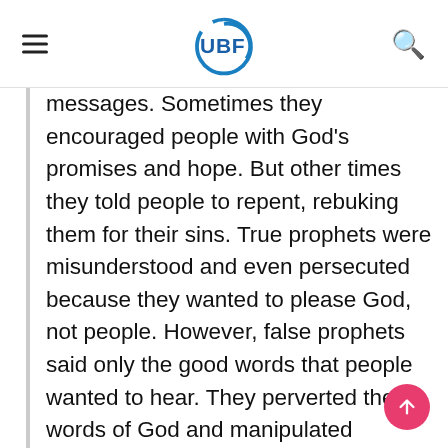UBF
messages. Sometimes they encouraged people with God's promises and hope. But other times they told people to repent, rebuking them for their sins. True prophets were misunderstood and even persecuted because they wanted to please God, not people. However, false prophets said only the good words that people wanted to hear. They perverted the words of God and manipulated people's trust for their own benefit. This is why God told his people to test the prophets to see if they came from God or not (Deut 13:1-5). We tend to believe uncritically any teaching that is “spiritual.” But John said “do not believe every spirit, but test